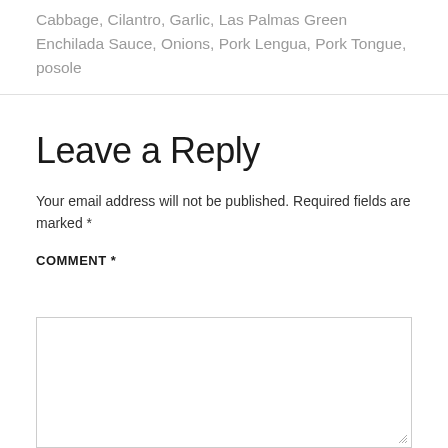Cabbage, Cilantro, Garlic, Las Palmas Green Enchilada Sauce, Onions, Pork Lengua, Pork Tongue, posole
Leave a Reply
Your email address will not be published. Required fields are marked *
COMMENT *